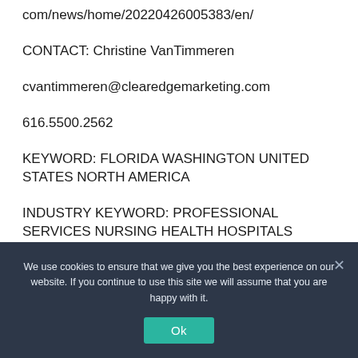com/news/home/20220426005383/en/
CONTACT: Christine VanTimmeren
cvantimmeren@clearedgemarketing.com
616.5500.2562
KEYWORD: FLORIDA WASHINGTON UNITED STATES NORTH AMERICA
INDUSTRY KEYWORD: PROFESSIONAL SERVICES NURSING HEALTH HOSPITALS
We use cookies to ensure that we give you the best experience on our website. If you continue to use this site we will assume that you are happy with it.